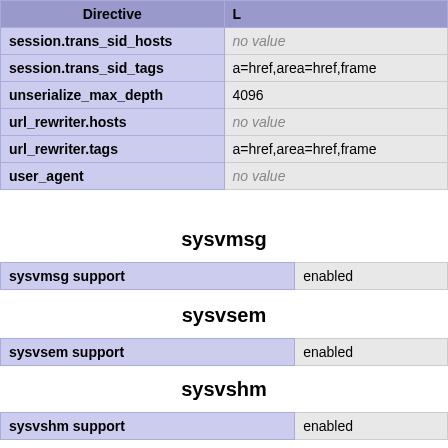| Directive | L |
| --- | --- |
| session.trans_sid_hosts | no value |
| session.trans_sid_tags | a=href,area=href,frame |
| unserialize_max_depth | 4096 |
| url_rewriter.hosts | no value |
| url_rewriter.tags | a=href,area=href,frame |
| user_agent | no value |
sysvmsg
| sysvmsg support | enabled |
sysvsem
| sysvsem support | enabled |
sysvshm
| sysvshm support | enabled |
tidy